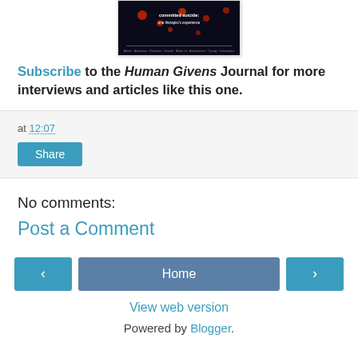[Figure (photo): Book cover image with dark/space background and small red dots, with white text]
Subscribe to the Human Givens Journal for more interviews and articles like this one.
at 12:07
Share
No comments:
Post a Comment
‹
Home
›
View web version
Powered by Blogger.